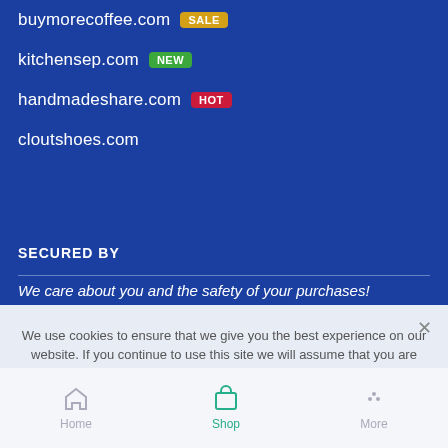buymorecoffee.com SALE
kitchensep.com NEW
handmadeshare.com HOT
cloutshoes.com
SECURED BY
We care about you and the safety of your purchases!
We use cookies to ensure that we give you the best experience on our website. If you continue to use this site we will assume that you are happy with it.
Ok
Home  Shop  More